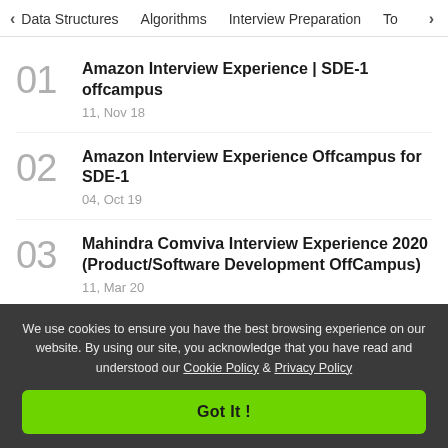< Data Structures   Algorithms   Interview Preparation   To>
01  Amazon Interview Experience | SDE-1 offcampus
11, Nov 18
02  Amazon Interview Experience Offcampus for SDE-1
04, Oct 19
03  Mahindra Comviva Interview Experience 2020 (Product/Software Development OffCampus)
11, Mar 20
We use cookies to ensure you have the best browsing experience on our website. By using our site, you acknowledge that you have read and understood our Cookie Policy & Privacy Policy
Got It !